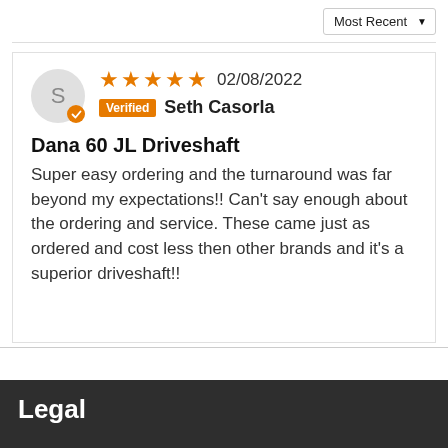Most Recent ▼
★★★★★  02/08/2022
Verified  Seth Casorla
Dana 60 JL Driveshaft
Super easy ordering and the turnaround was far beyond my expectations!! Can't say enough about the ordering and service. These came just as ordered and cost less then other brands and it's a superior driveshaft!!
Legal